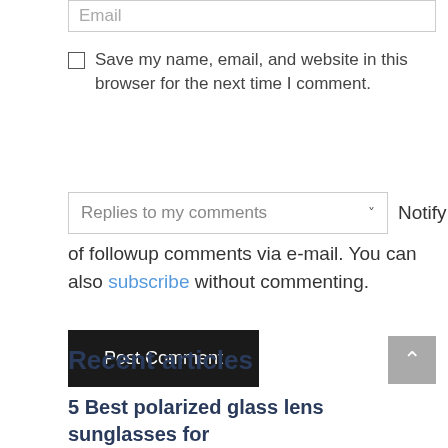Email
Save my name, email, and website in this browser for the next time I comment.
Replies to my comments  Notify me of followup comments via e-mail. You can also subscribe without commenting.
Post Comment
Recent articles
5 Best polarized glass lens sunglasses for